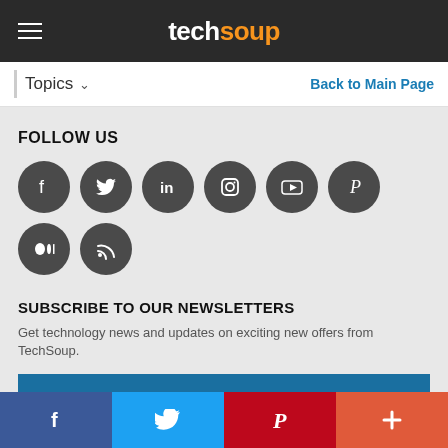techsoup
Topics ∨
Back to Main Page
FOLLOW US
[Figure (infographic): Row of 8 circular dark grey social media icons: Facebook, Twitter, LinkedIn, Instagram, YouTube, Pinterest, Medium, RSS]
SUBSCRIBE TO OUR NEWSLETTERS
Get technology news and updates on exciting new offers from TechSoup.
SUBSCRIBE
Copyright © 2022, TechSoup Global. All Rights Reserved.
[Figure (infographic): Bottom bar with 4 colored sections: Facebook (dark blue), Twitter (light blue), Pinterest (red), plus sign (orange-red)]